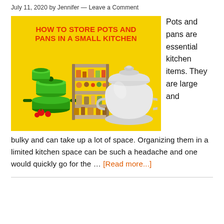July 11, 2020 by Jennifer — Leave a Comment
[Figure (infographic): Infographic with yellow background titled 'HOW TO STORE POTS AND PANS IN A SMALL KITCHEN' showing illustrated pots, pans, a kitchen shelf/rack, and a large white pot/tureen.]
Pots and pans are essential kitchen items. They are large and bulky and can take up a lot of space. Organizing them in a limited kitchen space can be such a headache and one would quickly go for the … [Read more...]